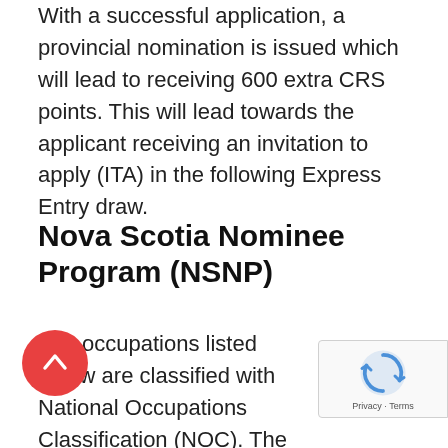With a successful application, a provincial nomination is issued which will lead to receiving 600 extra CRS points. This will lead towards the applicant receiving an invitation to apply (ITA) in the following Express Entry draw.
Nova Scotia Nominee Program (NSNP)
The occupations listed below are classified with National Occupations Classification (NOC). The NOC is code which helps to determine a candidate's skill level created for a skilled, semi-skilled occupations. For applying in demanding occupation a